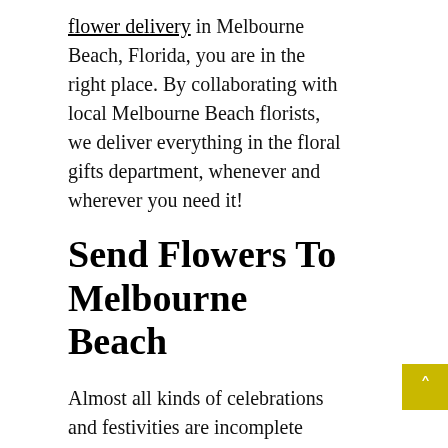flower delivery in Melbourne Beach, Florida, you are in the right place. By collaborating with local Melbourne Beach florists, we deliver everything in the floral gifts department, whenever and wherever you need it!
Send Flowers To Melbourne Beach
Almost all kinds of celebrations and festivities are incomplete without flowers. Do you need Mother's day flower delivery at your hometown while you're away for work? Just ask SnapBlooms! Or are you planning to sweep your sweetheart off her feet? Without a special Valentine's Day flower delivery from SnapBlooms, your preparations will look incomplete. Birthday flower delivery is also a grand affair with SnapBlooms, with hundreds of options to choose from that suit all kind of tastes and budgets.